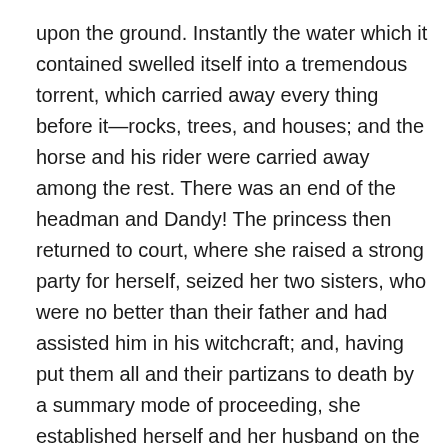upon the ground. Instantly the water which it contained swelled itself into a tremendous torrent, which carried away every thing before it—rocks, trees, and houses; and the horse and his rider were carried away among the rest. There was an end of the headman and Dandy! The princess then returned to court, where she raised a strong party for herself, seized her two sisters, who were no better than their father and had assisted him in his witchcraft; and, having put them all and their partizans to death by a summary mode of proceeding, she established herself and her husband on the throne as headman and head woman. It was from this time that all the kings of Africa have been uniformly mild and benevolent sovereigns. Till then they were all tyrants, and tyrants they would all still have continued if this virtuous princess had not changed the face of things by drowning her father, strangling her two sisters, and chopping off the heads of